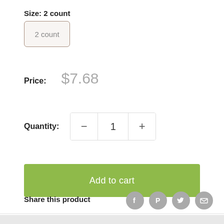Size: 2 count
2 count
Price: $7.68
Quantity: − 1 +
Add to cart
Share this product